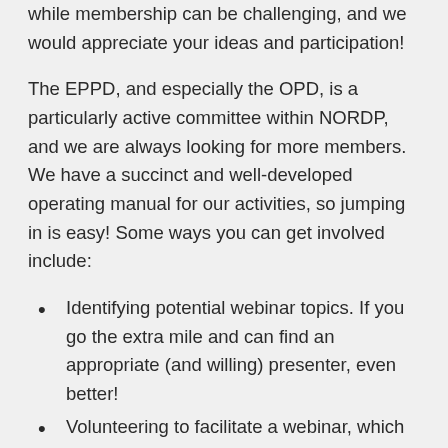…while membership can be challenging, and we would appreciate your ideas and participation!
The EPPD, and especially the OPD, is a particularly active committee within NORDP, and we are always looking for more members. We have a succinct and well-developed operating manual for our activities, so jumping in is easy! Some ways you can get involved include:
Identifying potential webinar topics. If you go the extra mile and can find an appropriate (and willing) presenter, even better!
Volunteering to facilitate a webinar, which includes working with the presenter and the OPD leadership to arrange, advertise, and conduct the webinar.